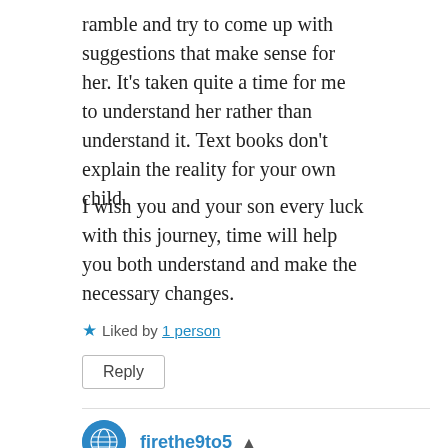ramble and try to come up with suggestions that make sense for her. It's taken quite a time for me to understand her rather than understand it. Text books don't explain the reality for your own child.
I wish you and your son every luck with this journey, time will help you both understand and make the necessary changes.
★ Liked by 1 person
Reply
firethe9to5